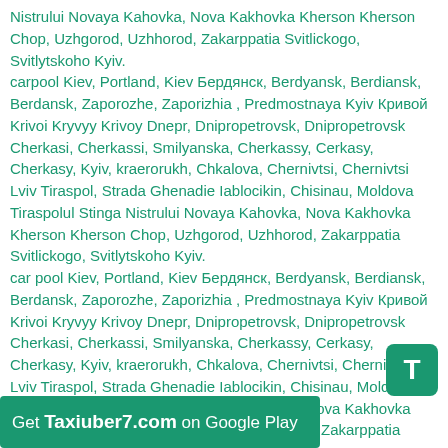Nistrului Novaya Kahovka, Nova Kakhovka Kherson Kherson Chop, Uzhgorod, Uzhhorod, Zakarppatia Svitlickogo, Svitlytskoho Kyiv.
carpool Kiev, Portland, Kiev Бердянск, Berdyansk, Berdiansk, Berdansk, Zaporozhe, Zaporizhia , Predmostnaya Kyiv Кривой Krivoi Kryvyy Krivoy Dnepr, Dnipropetrovsk, Dnipropetrovsk Cherkasi, Cherkassi, Smilyanska, Cherkassy, Cerkasy, Cherkasy, Kyiv, kraerorukh, Chkalova, Chernivtsi, Chernivtsi Lviv Tiraspol, Strada Ghenadie Iablocikin, Chisinau, Moldova Tiraspolul Stinga Nistrului Novaya Kahovka, Nova Kakhovka Kherson Kherson Chop, Uzhgorod, Uzhhorod, Zakarppatia Svitlickogo, Svitlytskoho Kyiv.
car pool Kiev, Portland, Kiev Бердянск, Berdyansk, Berdiansk, Berdansk, Zaporozhe, Zaporizhia , Predmostnaya Kyiv Кривой Krivoi Kryvyy Krivoy Dnepr, Dnipropetrovsk, Dnipropetrovsk Cherkasi, Cherkassi, Smilyanska, Cherkassy, Cerkasy, Cherkasy, Kyiv, kraerorukh, Chkalova, Chernivtsi, Chernivtsi Lviv Tiraspol, Strada Ghenadie Iablocikin, Chisinau, Moldova Tiraspolul Stinga Nistrului Novaya Kahovka, Nova Kakhovka Kherson Kherson Chop, Uzhgorod, Uzhhorod, Zakarppatia Svitlickogo, Svitlytskoho Kyiv.
vanpooling Kiev, Portland, Kiev Бердянск, Berdyansk, Berdansk, Zaporozhe, Zaporizhia , Predmostnaya Kyiv Кривой Krivoi Kryvyy Krivoy Dnepr, Dnipropetrovsk, Dnipropetrovsk Cherkasi, Cherkassi, Smilyanska, Cherkassy, Cerkasy, Cherkasy,
[Figure (logo): Green rounded square badge with white letter T]
Get Taxiuber7.com on Google Play